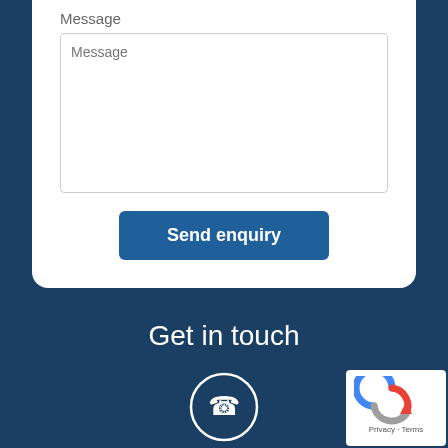Message
Message
Send enquiry
Get in touch
[Figure (illustration): White circle with phone handset icon]
Phone
1300 33 11 64
[Figure (logo): reCAPTCHA badge with Privacy and Terms text]